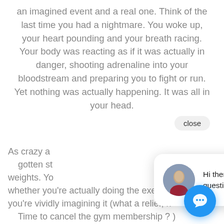an imagined event and a real one. Think of the last time you had a nightmare. You woke up, your heart pounding and your breath racing. Your body was reacting as if it was actually in danger, shooting adrenaline into your bloodstream and preparing you to fight or run. Yet nothing was actually happening. It was all in your head.
[Figure (screenshot): A chat widget popup showing a woman's avatar photo and the text 'Hi there, have a question? Text us here.' with a close button above it and a blue circular chat button in the bottom-right corner.]
As crazy a gotten st weights. Yo whether you're actually doing the exercise or you're vividly imagining it (what a relief, h Time to cancel the gym membership ? )